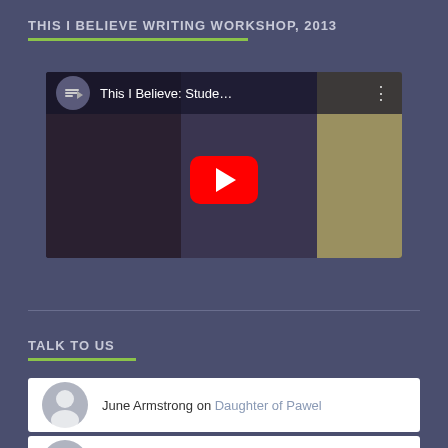THIS I BELIEVE WRITING WORKSHOP, 2013
[Figure (screenshot): YouTube video thumbnail showing 'This I Believe: Stude...' with a red play button overlay and three vertical dots menu icon]
TALK TO US
June Armstrong on Daughter of Pawel
Jane Coulter on Daughter of Pawel